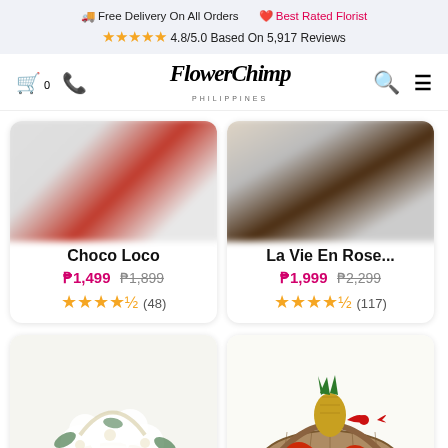🚚 Free Delivery On All Orders ❤️ Best Rated Florist ⭐⭐⭐⭐⭐ 4.8/5.0 Based On 5,917 Reviews
[Figure (screenshot): FlowerChimp Philippines website navigation bar with cart icon (0), phone icon, logo in cursive script, search icon, and hamburger menu icon]
[Figure (photo): Product card for 'Choco Loco' showing a blurred red product image]
Choco Loco
₱1,499 ₱1,899
★★★★½ (48)
[Figure (photo): Product card for 'La Vie En Rose...' showing a blurred brown/dark product image]
La Vie En Rose...
₱1,999 ₱2,299
★★★★½ (117)
[Figure (photo): Bottom left product card showing a white flower arrangement in a basket]
[Figure (photo): Bottom right product card showing a fruit basket with pineapple, apples, oranges, bananas with a red bow]